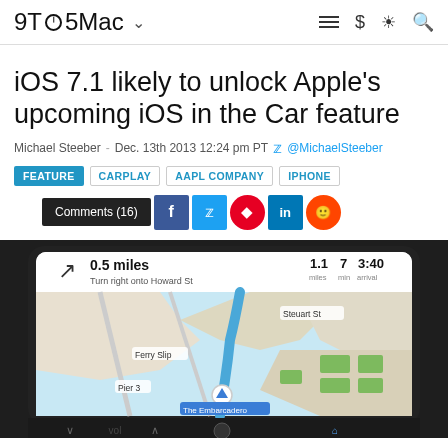9TO5Mac
iOS 7.1 likely to unlock Apple’s upcoming iOS in the Car feature
Michael Steeber - Dec. 13th 2013 12:24 pm PT @MichaelSteeber
FEATURE | CARPLAY | AAPL COMPANY | IPHONE
Comments (16)
[Figure (screenshot): Screenshot of iOS in the Car navigation app showing a 3D map view with turn-by-turn directions. Header shows: 0.5 miles, Turn right onto Howard St, 1.1 miles, 7 min, 3:40 arrival. Map labels: Steuart St, Ferry Slip, Pier 3, The Embarcadero.]